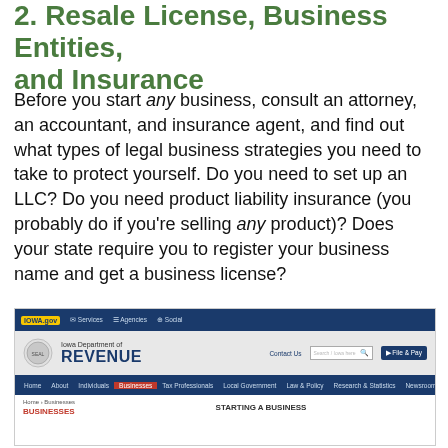2. Resale License, Business Entities, and Insurance
Before you start any business, consult an attorney, an accountant, and insurance agent, and find out what types of legal business strategies you need to take to protect yourself. Do you need to set up an LLC? Do you need product liability insurance (you probably do if you're selling any product)? Does your state require you to register your business name and get a business license?
[Figure (screenshot): Screenshot of the Iowa Department of Revenue website showing the homepage with navigation bar, header with department logo and seal, and a 'Businesses' section highlighted in red with 'Starting a Business' text visible.]